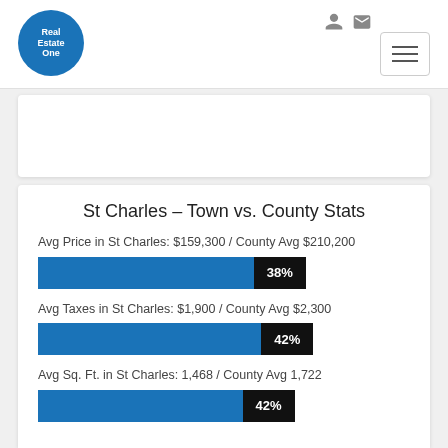[Figure (logo): Real Estate One circular blue logo]
St Charles – Town vs. County Stats
Avg Price in St Charles: $159,300 / County Avg $210,200
[Figure (bar-chart): Avg Price comparison]
Avg Taxes in St Charles: $1,900 / County Avg $2,300
[Figure (bar-chart): Avg Taxes comparison]
Avg Sq. Ft. in St Charles: 1,468 / County Avg 1,722
[Figure (bar-chart): Avg Sq Ft comparison]